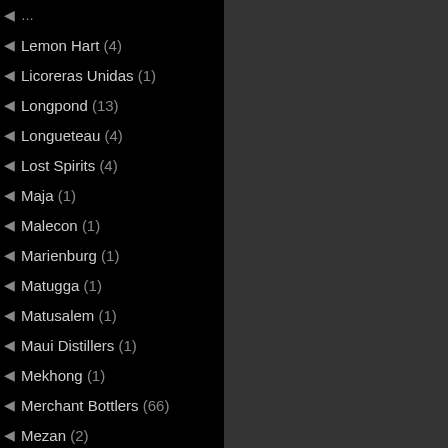Lemon Hart (4)
Licoreras Unidas (1)
Longpond (13)
Longueteau (4)
Lost Spirits (4)
Maja (1)
Malecon (1)
Marienburg (1)
Matugga (1)
Matusalem (1)
Maui Distillers (1)
Mekhong (1)
Merchant Bottlers (66)
Mezan (2)
Mhoba (4)
Millonario (3)
Miscellaneous (136)
Mombacho (1)
Montanya (1)
Montebello (1)